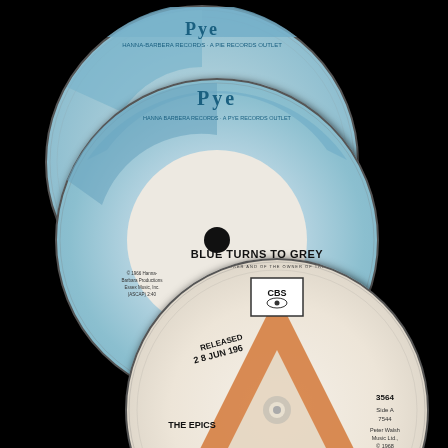[Figure (photo): Two vinyl 7-inch singles on Pye Records label (light blue design) showing 'Goes To Show (Just How Wrong You Can Be)' by The Epics (catalog HBR-480) and 'Blue Turns To Grey' by The Epics, overlapping each other. Below them, a CBS label vinyl single showing 'The Epics', 'U.K. Production', catalog 3564, released 28 JUN [1968]. All records are photographed against a black background.]